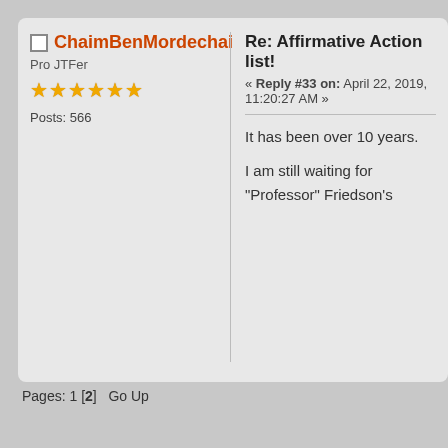ChaimBenMordechai
Pro JTFer
Posts: 566
Re: Affirmative Action list!
« Reply #33 on: April 22, 2019, 11:20:27 AM »
It has been over 10 years.
I am still waiting for "Professor" Friedson's
Pages: 1 [2]   Go Up
JTF.ORG Forum ◆ Save Western Civilization ◆ Save America (Moderator: Mishmaa
SMF 2.0.15 | SMF © 2017, Simp
Simple Audio Video Embe